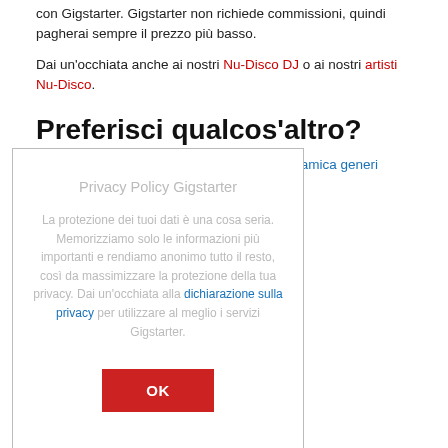con Gigstarter. Gigstarter non richiede commissioni, quindi pagherai sempre il prezzo più basso.
Dai un'occhiata anche ai nostri Nu-Disco DJ o ai nostri artisti Nu-Disco.
Preferisci qualcos'altro?
Cerca band qualsiasi genere. Visita la panoramica generi
[Figure (other): Privacy Policy modal dialog for Gigstarter. Title: 'Privacy Policy Gigstarter'. Body text: 'La protezione dei tuoi dati è una cosa seria. Memorizziamo solo le informazioni più importanti e rendiamo anonimo tutto il resto, così da massimizzare la protezione della tua privacy. Dai un'occhiata alla dichiarazione sulla privacy per utilizzare al meglio i servizi Gigstarter.' with an OK button.]
Ingaggia una band Acustico
Ingaggia una band Celtico